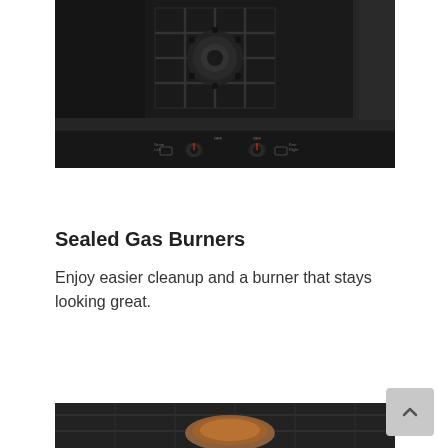[Figure (photo): Close-up photo of a black gas cooktop with sealed burners, cast iron grates, and two control knobs with red indicators on the front panel.]
Sealed Gas Burners
Enjoy easier cleanup and a burner that stays looking great.
[Figure (photo): Partial photo of a roast or meat dish being cooked in a dark oven interior.]